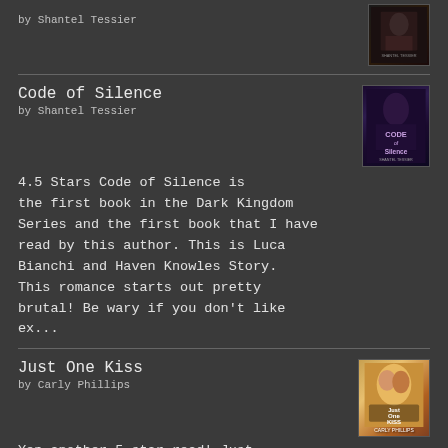by Shantel Tessier
[Figure (illustration): Book cover thumbnail, dark/moody with figure]
Code of Silence
by Shantel Tessier
[Figure (illustration): Code of Silence book cover thumbnail, dark purple tones]
4.5 Stars Code of Silence is the first book in the Dark Kingdom Series and the first book that I have read by this author. This is Luca Bianchi and Haven Knowles Story. This romance starts out pretty brutal! Be wary if you don't like ex...
Just One Kiss
by Carly Phillips
[Figure (illustration): Just One Kiss book cover thumbnail by Carly Phillips, warm golden tones with couple]
Yep another 5 star read! Just